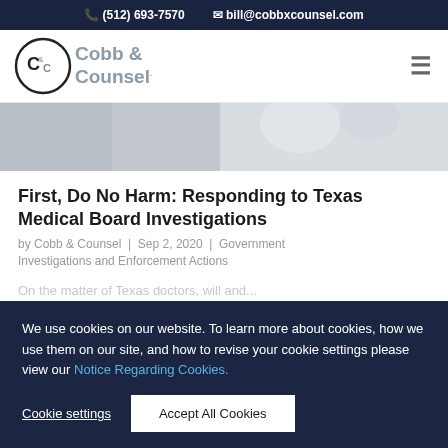(512) 693-7570   bill@cobbxcounsel.com
[Figure (logo): Cobb & Counsel logo with circular C&C emblem and text 'Cobb & Counsel']
[Figure (photo): Partial hero image showing a person at a desk, presumably a medical or legal professional]
First, Do No Harm: Responding to Texas Medical Board Investigations
by Cobb & Counsel | Sep 2, 2020 | Government Investigations and Enforcement Actions
On the matter of Texas doctors, will and...
We use cookies on our website. To learn more about cookies, how we use them on our site, and how to revise your cookie settings please view our Notice Regarding Cookies.
Cookie settings   Accept All Cookies